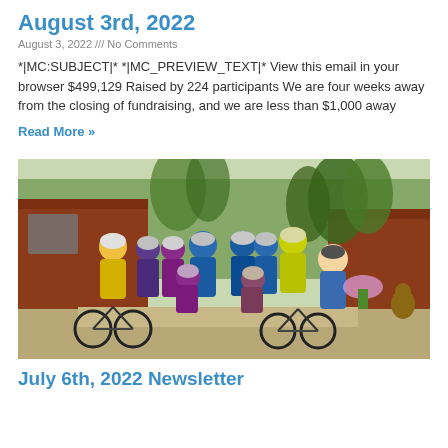August 3rd, 2022
August 3, 2022 /// No Comments
*|MC:SUBJECT|* *|MC_PREVIEW_TEXT|* View this email in your browser $499,129 Raised by 224 participants We are four weeks away from the closing of fundraising, and we are less than $1,000 away
Read More »
[Figure (photo): Group photo of cyclists in helmets and cycling gear posing in front of a red log cabin building with trees in the background. Several bicycles are visible in the foreground.]
July 6th, 2022 Newsletter